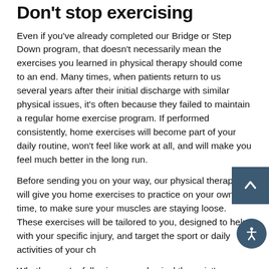Don't stop exercising
Even if you've already completed our Bridge or Step Down program, that doesn't necessarily mean the exercises you learned in physical therapy should come to an end. Many times, when patients return to us several years after their initial discharge with similar physical issues, it's often because they failed to maintain a regular home exercise program. If performed consistently, home exercises will become part of your daily routine, won't feel like work at all, and will make you feel much better in the long run.
Before sending you on your way, our physical therapists will give you home exercises to practice on your own time, to make sure your muscles are staying loose. These exercises will be tailored to you, designed to help with your specific injury, and target the sport or daily activities of your ch...
Whether you're following your physical therapist's progr... or practicing your own workout regimen, it's important to take it slow and increase the difficulty gradually. Take your...